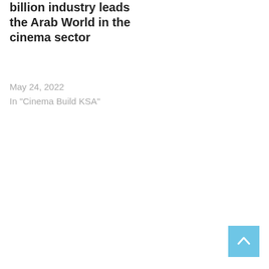billion industry leads the Arab World in the cinema sector
May 24, 2022
In "Cinema Build KSA"